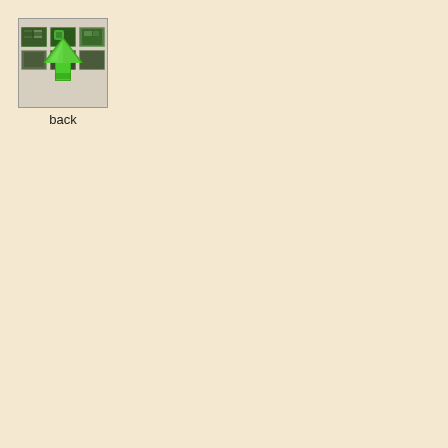[Figure (screenshot): A small thumbnail icon showing a grid of six small images with a large green upward-pointing arrow overlaid in the center, resembling a navigation 'back' or 'up' button icon for a photo gallery or file browser.]
back